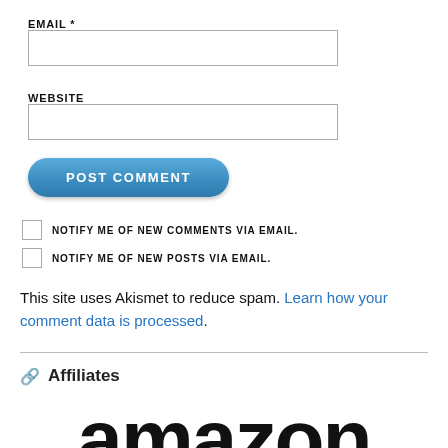EMAIL *
WEBSITE
POST COMMENT
NOTIFY ME OF NEW COMMENTS VIA EMAIL.
NOTIFY ME OF NEW POSTS VIA EMAIL.
This site uses Akismet to reduce spam. Learn how your comment data is processed.
Affiliates
[Figure (logo): Amazon logo text showing 'amazon' in large bold black letters, partially cropped at bottom]